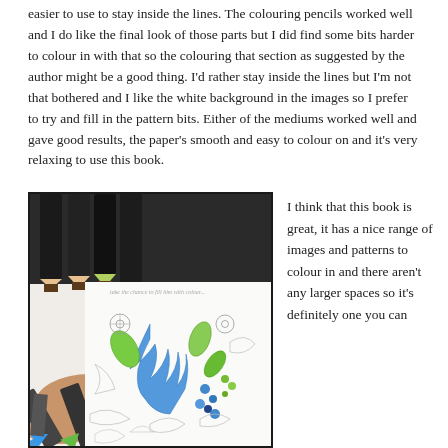easier to use to stay inside the lines. The colouring pencils worked well and I do like the final look of those parts but I did find some bits harder to colour in with that so the colouring that section as suggested by the author might be a good thing. I'd rather stay inside the lines but I'm not that bothered and I like the white background in the images so I prefer to try and fill in the pattern bits. Either of the mediums worked well and gave good results, the paper's smooth and easy to colour on and it's very relaxing to use this book.
[Figure (photo): Photo of coloured pencils (black, green, blue tips) laid on an open colouring book page featuring floral and leaf patterns, some filled with blue and green colours.]
I think that this book is great, it has a nice range of images and patterns to colour in and there aren't any larger spaces so it's definitely one you can